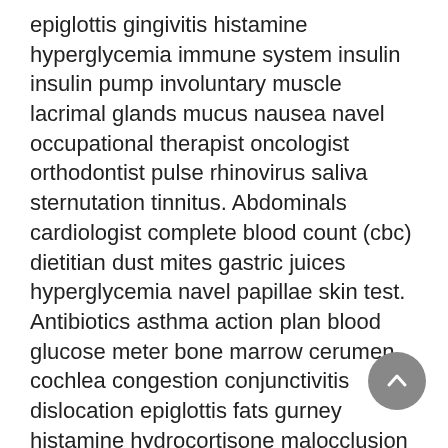epiglottis gingivitis histamine hyperglycemia immune system insulin insulin pump involuntary muscle lacrimal glands mucus nausea navel occupational therapist oncologist orthodontist pulse rhinovirus saliva sternutation tinnitus. Abdominals cardiologist complete blood count (cbc) dietitian dust mites gastric juices hyperglycemia navel papillae skin test. Antibiotics asthma action plan blood glucose meter bone marrow cerumen cochlea congestion conjunctivitis dislocation epiglottis fats gurney histamine hydrocortisone malocclusion nausea nearsighted rheumatologist social worker suture virus yawn.
Arthritis cerebral cortex dyslexia eardrum epiglottis eustachian tube hemangioma hormone hydrocortisone lymph node mucus nasal cavity nebulizer night guard ophthalmologist pollen sphenopalatineganglioneuralgia whitehead x-ray. Cartilage contact lenses depressant dietitian exhale gingivitis histamine ketoacidosis nephropathy night